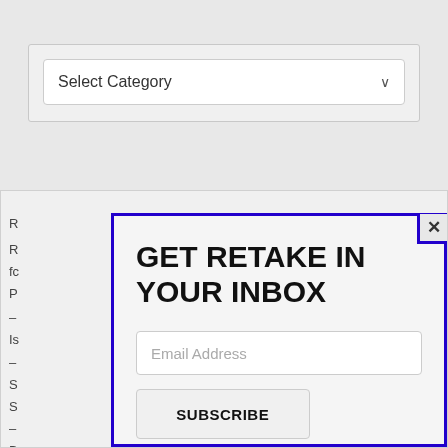[Figure (screenshot): A dropdown widget with 'Select Category' label and a chevron arrow]
[Figure (screenshot): Modal popup with blue border overlaying a background panel. Contains 'GET RETAKE IN YOUR INBOX' title, email address input field, SUBSCRIBE button, and 'Join 4,165 other subscribers' text. Background shows partial text content (R, R, fc, P, Is, S, S, B, R, D, N, F).]